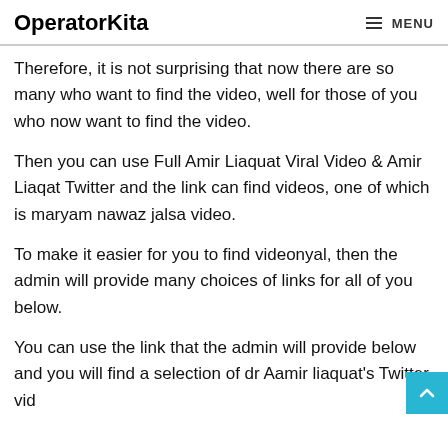OperatorKita   MENU
Therefore, it is not surprising that now there are so many who want to find the video, well for those of you who now want to find the video.
Then you can use Full Amir Liaquat Viral Video & Amir Liaqat Twitter and the link can find videos, one of which is maryam nawaz jalsa video.
To make it easier for you to find videonyal, then the admin will provide many choices of links for all of you below.
You can use the link that the admin will provide below and you will find a selection of dr Aamir liaquat's Twitter vid…